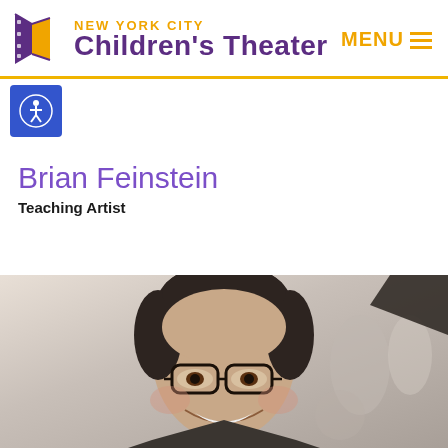NEW YORK CITY Children's Theater | MENU
[Figure (logo): New York City Children's Theater logo with purple curtain/film icon and orange 'NEW YORK CITY' text above purple 'Children's Theater' text]
[Figure (other): Blue accessibility icon button with person/wheelchair symbol]
Brian Feinstein
Teaching Artist
[Figure (photo): Photo of Brian Feinstein, a smiling man with short dark hair and glasses, in what appears to be a classroom or rehearsal setting with other people blurred in the background]